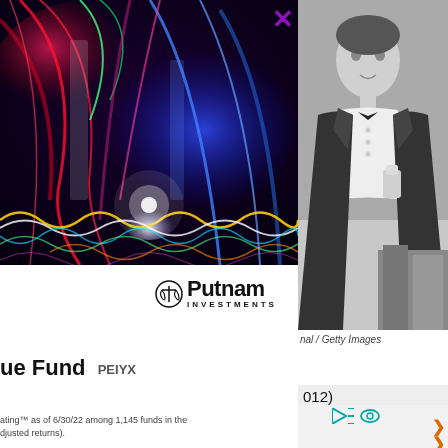[Figure (photo): Abstract colorful light trails photo - red, blue, green, yellow wavy light patterns on dark background]
[Figure (photo): Black and white vintage photo of a man in tuxedo/bow tie standing at what appears to be a podium or desk]
X
[Figure (logo): Putnam Investments logo with scales icon]
nal / Getty Images
ue Fund PEIYX
012)
ating™ as of 6/30/22 among 1,145 funds in the
djusted returns).